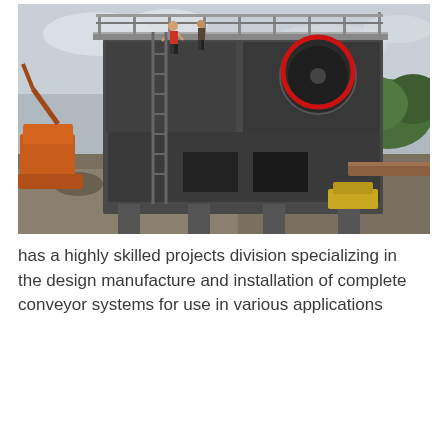[Figure (photo): Industrial mining/crushing facility with a large heavy grey metal crushing machine on elevated steel platform structure. Workers visible on the platform. Orange excavator visible on the left. Outdoor setting with rocky ground and cloudy sky. A red circle highlights a mechanical component on the machine.]
has a highly skilled projects division specializing in the design manufacture and installation of complete conveyor systems for use in various applications